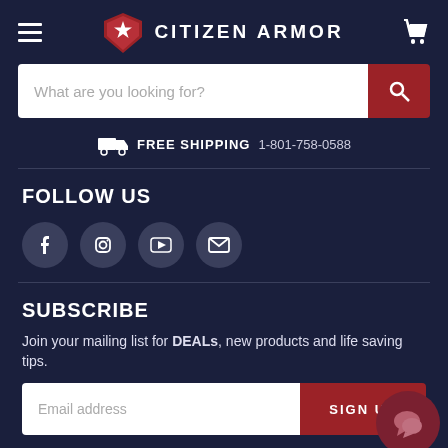[Figure (logo): Citizen Armor logo with red shield and white star, with hamburger menu left and cart icon right]
[Figure (screenshot): Search bar with placeholder 'What are you looking for?' and red search button]
FREE SHIPPING 1-801-758-0588
FOLLOW US
[Figure (infographic): Social media icons: Facebook, Instagram, YouTube, Email]
SUBSCRIBE
Join your mailing list for DEALs, new products and life saving tips.
[Figure (screenshot): Email address input field with SIGN UP button and chat bubble icon]